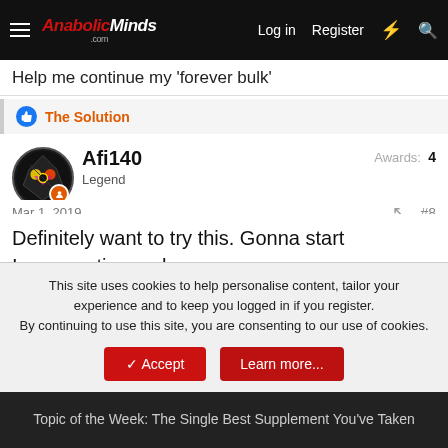AnabolicMinds.com | Log in | Register
Help me continue my 'forever bulk'
The Solution
Afi140
Legend
Awards: 4
Mar 1, 2019  #8
Definitely want to try this. Gonna start Incorporating carbs back in after a late run and the profile looks on point 🤙
This site uses cookies to help personalise content, tailor your experience and to keep you logged in if you register.
By continuing to use this site, you are consenting to our use of cookies.
Topic of the Week: The Single Best Supplement You've Taken